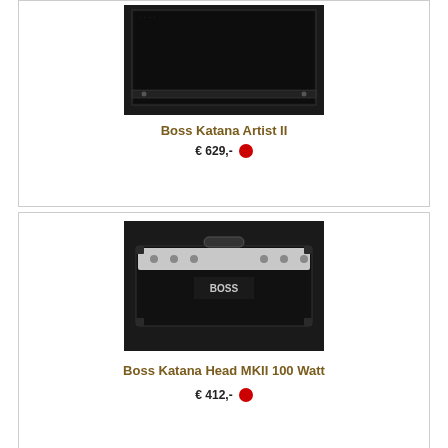[Figure (photo): Boss Katana Artist II guitar amplifier combo, black, photographed against dark background]
Boss Katana Artist II
€ 629,-
[Figure (photo): Boss Katana Head MKII 100 Watt guitar amplifier head unit, black with silver front panel, photographed against dark background]
Boss Katana Head MKII 100 Watt
€ 412,-